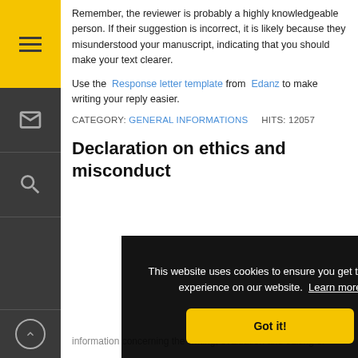Remember, the reviewer is probably a highly knowledgeable person. If their suggestion is incorrect, it is likely because they misunderstood your manuscript, indicating that you should make your text clearer.
Use the Response letter template from Edanz to make writing your reply easier.
CATEGORY: GENERAL INFORMATIONS    HITS: 12057
Declaration on ethics and misconduct
This website uses cookies to ensure you get the best experience on our website. Learn more
Got it!
information concerning the writing, evaluation and editing of